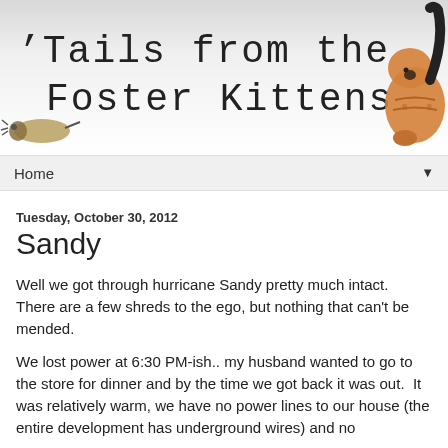[Figure (illustration): Blog header banner reading 'Tails from the Foster Kittens..' with decorative hand-drawn style font, a toy mouse on the left and an orange kitten on the right]
Home ▼
Tuesday, October 30, 2012
Sandy
Well we got through hurricane Sandy pretty much intact.  There are a few shreds to the ego, but nothing that can't be mended.
We lost power at 6:30 PM-ish.. my husband wanted to go to the store for dinner and by the time we got back it was out.  It was relatively warm, we have no power lines to our house (the entire development has underground wires) and no